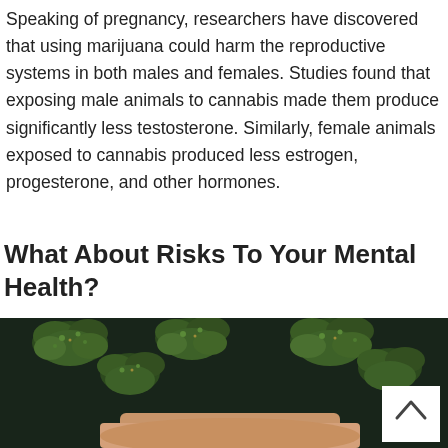Speaking of pregnancy, researchers have discovered that using marijuana could harm the reproductive systems in both males and females. Studies found that exposing male animals to cannabis made them produce significantly less testosterone. Similarly, female animals exposed to cannabis produced less estrogen, progesterone, and other hormones.
What About Risks To Your Mental Health?
[Figure (photo): Photo of cannabis buds on a dark background with a hand visible at the bottom, and a white scroll-to-top button in the bottom right corner.]